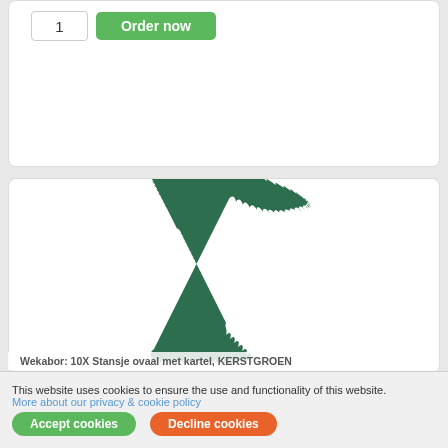[Figure (screenshot): Quantity input box showing '1' and a green 'Order now' button inside a white card]
[Figure (illustration): Green spiky oval/star-burst shape resembling a holiday wreath badge on a white card background]
Wekabor: 10X Stansje ovaal met kartel, KERSTGROEN
This website uses cookies to ensure the use and functionality of this website.
More about our privacy & cookie policy
Accept cookies
Decline cookies